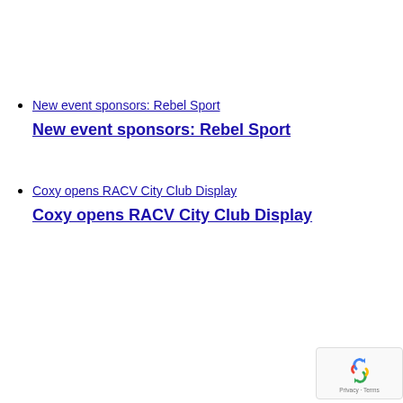New event sponsors: Rebel Sport
New event sponsors: Rebel Sport
Coxy opens RACV City Club Display
Coxy opens RACV City Club Display